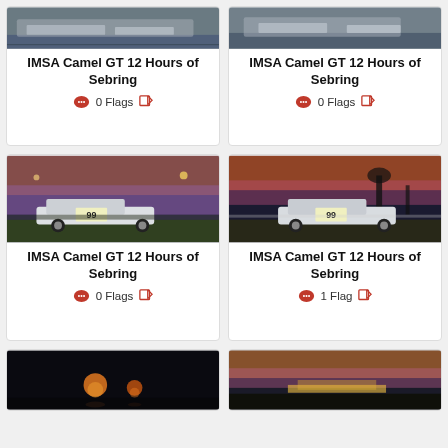[Figure (photo): Race car photo partially visible at top - IMSA Camel GT race car]
IMSA Camel GT 12 Hours of Sebring
0 Flags
[Figure (photo): Race car photo partially visible at top - IMSA Camel GT race car]
IMSA Camel GT 12 Hours of Sebring
0 Flags
[Figure (photo): Race car #99 at dusk/sunset on track - IMSA Camel GT Sebring]
IMSA Camel GT 12 Hours of Sebring
0 Flags
[Figure (photo): Race car #99 at sunset on track - IMSA Camel GT Sebring]
IMSA Camel GT 12 Hours of Sebring
1 Flag
[Figure (photo): Night race photo partially visible at bottom]
[Figure (photo): Sunset/dusk race photo partially visible at bottom]